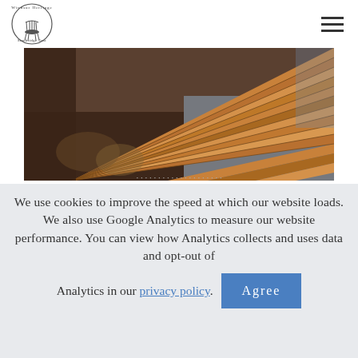[Figure (logo): Windsor Heritage Stanbridge East circular logo with Windsor chair illustration]
[Figure (photo): Close-up photo of stacked wooden lumber/spindles in a woodworking shop, warm brown tones with blurred background]
We use cookies to improve the speed at which our website loads. We also use Google Analytics to measure our website performance. You can view how Analytics collects and uses data and opt-out of Analytics in our privacy policy.
Agree